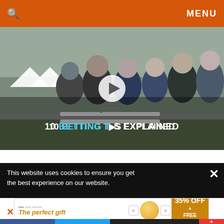🔍   MENU
[Figure (screenshot): Video thumbnail showing group of men in suits at a racing event, with overlay text '10 BETTING TERMS EXPLAINED' and a play button]
This website uses cookies to ensure you get the best experience on our website.
[Figure (infographic): Advertisement banner: 'The perfect gift' with bowl image and '35% OFF + FREE SHIPPING' offer]